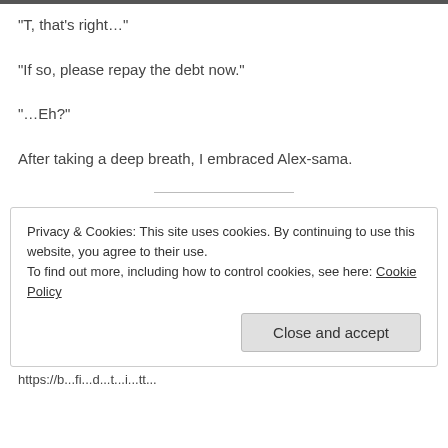“T, that’s right…”
“If so, please repay the debt now.”
“…Eh?”
After taking a deep breath, I embraced Alex-sama.
Privacy & Cookies: This site uses cookies. By continuing to use this website, you agree to their use. To find out more, including how to control cookies, see here: Cookie Policy
Close and accept
https://b...fi...d...t...i...tt...